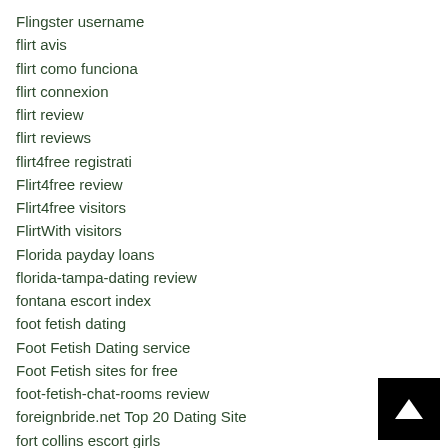Flingster username
flirt avis
flirt como funciona
flirt connexion
flirt review
flirt reviews
flirt4free registrati
Flirt4free review
Flirt4free visitors
FlirtWith visitors
Florida payday loans
florida-tampa-dating review
fontana escort index
foot fetish dating
Foot Fetish Dating service
Foot Fetish sites for free
foot-fetish-chat-rooms review
foreignbride.net Top 20 Dating Site
fort collins escort girls